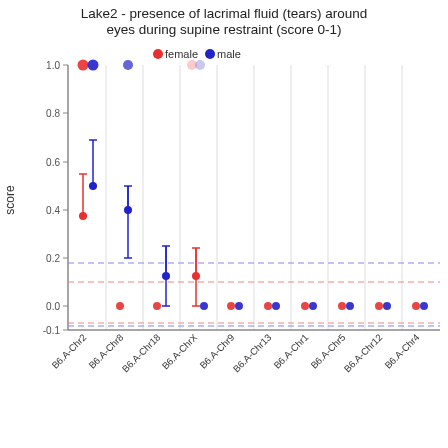[Figure (continuous-plot): Dot plot with error bars showing mean scores by chromosome consomic strain (B6.A-Chr2, B6.A-Chr8, B6.A-Chr18, B6.A-ChrX, B6.A-Chr9, B6.A-Chr13, B6.A-Chr1, B6.A-Chr5, B6.A-Chr12, B6.A-Chr4) for female (red) and male (blue) mice. Y-axis ranges from about -0.1 to 1.0. Dashed horizontal reference lines at approximately 0.18 (blue) and 0.10 (red) and -0.07 (red/blue). Most strains show near-zero scores; B6.A-Chr2 and B6.A-Chr8 show elevated scores especially for males.]